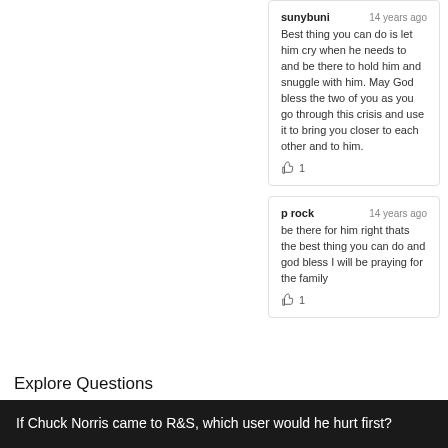sunybuni   14 years ago
Best thing you can do is let him cry when he needs to and be there to hold him and snuggle with him. May God bless the two of you as you go through this crisis and use it to bring you closer to each other and to him.
👍 1
p rock   14 years ago
be there for him right thats the best thing you can do and god bless I will be praying for the family
👍 1
Explore Questions
If Chuck Norris came to R&S, which user would he hurt first?